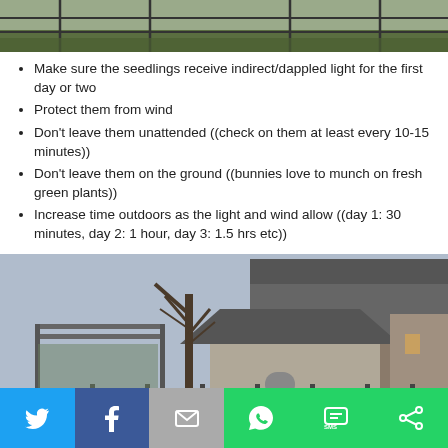[Figure (photo): Partial photo at top of page showing outdoor scene with fence and grass]
Make sure the seedlings receive indirect/dappled light for the first day or two
Protect them from wind
Don't leave them unattended ((check on them at least every 10-15 minutes))
Don't leave them on the ground ((bunnies love to munch on fresh green plants))
Increase time outdoors as the light and wind allow ((day 1: 30 minutes, day 2: 1 hour, day 3: 1.5 hrs etc))
[Figure (photo): Photo of a backyard with a house, large bare tree, garden pots on grass, and a fence]
[Figure (infographic): Social sharing bar with Twitter, Facebook, Email, WhatsApp, SMS, and Share buttons]